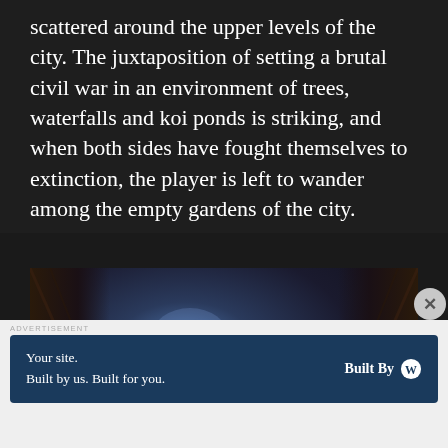scattered around the upper levels of the city. The juxtaposition of setting a brutal civil war in an environment of trees, waterfalls and koi ponds is striking, and when both sides have fought themselves to extinction, the player is left to wander among the empty gardens of the city.
[Figure (screenshot): Screenshot from a video game showing a dark sci-fi corridor or city interior with a bright blue glowing light source in the upper center, flanked by dark structural elements on both sides, with organic or rocky floor elements below]
ADVERTISEMENT
[Figure (other): Advertisement banner: 'Your site. Built by us. Built for you.' with 'Built By' and WordPress logo on dark blue background]